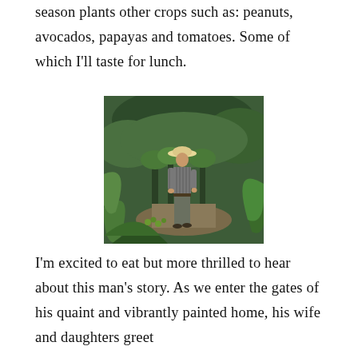season plants other crops such as: peanuts, avocados, papayas and tomatoes. Some of which I'll taste for lunch.
[Figure (photo): A man wearing a straw hat and striped shirt walks through lush green coffee plant rows surrounded by tropical vegetation.]
I'm excited to eat but more thrilled to hear about this man's story. As we enter the gates of his quaint and vibrantly painted home, his wife and daughters greet